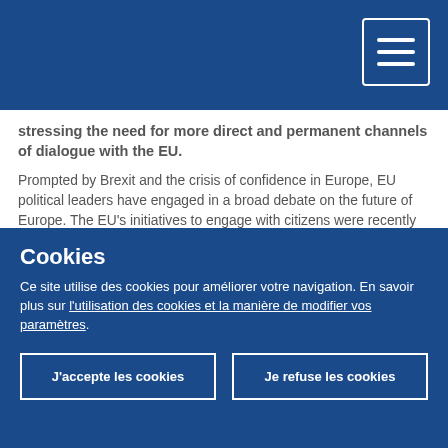Header bar with hamburger menu
stressing the need for more direct and permanent channels of dialogue with the EU.
Prompted by Brexit and the crisis of confidence in Europe, EU political leaders have engaged in a broad debate on the future of Europe. The EU's initiatives to engage with citizens were recently given a strong boost with President Macron's proposal to launch "citizens' consultations" throughout the EU. The CoR is actively contributing to the process, in particular through a wide-ranging consultation campaign branded "Reflecting on Europe", mainly in the form of citizens' dialogues organised at local level. Results of this bottom-up
Cookies
Ce site utilise des cookies pour améliorer votre navigation. En savoir plus sur l'utilisation des cookies et la manière de modifier vos paramètres.